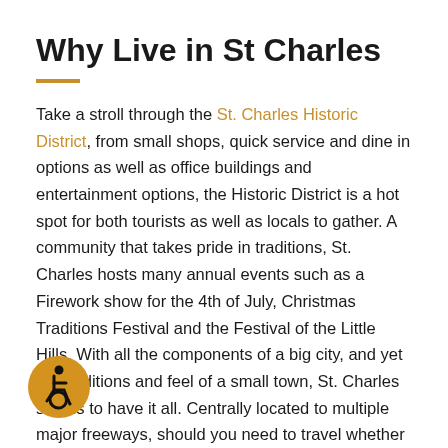Why Live in St Charles
Take a stroll through the St. Charles Historic District, from small shops, quick service and dine in options as well as office buildings and entertainment options, the Historic District is a hot spot for both tourists as well as locals to gather. A community that takes pride in traditions, St. Charles hosts many annual events such as a Firework show for the 4th of July, Christmas Traditions Festival and the Festival of the Little Hills. With all the components of a big city, and yet the traditions and feel of a small town, St. Charles seems to have it all. Centrally located to multiple major freeways, should you need to travel whether it be for national or recreational purposes, you can easily travel in nearly any direction.
[Figure (illustration): Accessibility icon: wheelchair user symbol in black on a gold/yellow circle background, bottom left corner]